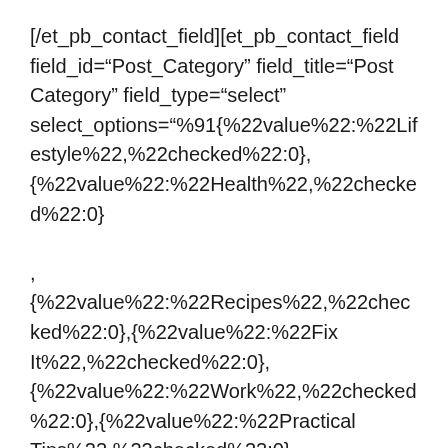[/et_pb_contact_field][et_pb_contact_field field_id="Post_Category" field_title="Post Category" field_type="select" select_options="%91{%22value%22:%22Lifestyle%22,%22checked%22:0},{%22value%22:%22Health%22,%22checked%22:0},{%22value%22:%22Recipes%22,%22checked%22:0},{%22value%22:%22Fix It%22,%22checked%22:0},{%22value%22:%22Work%22,%22checked%22:0},{%22value%22:%22Practical Tips%22,%22checked%22:0},{%22value%22:%22Reviews%22,%22checked%22:0},